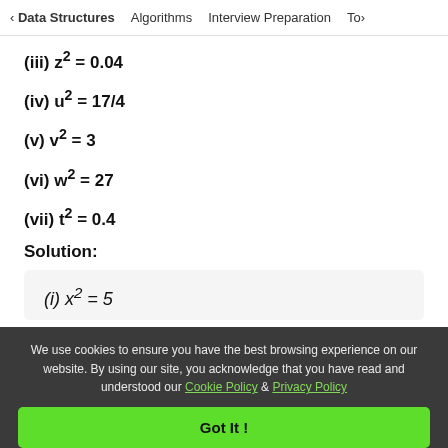< Data Structures   Algorithms   Interview Preparation   Top>
(iii) z² = 0.04
(iv) u² = 17/4
(v) v² = 3
(vi) w² = 27
(vii) t² = 0.4
Solution:
(i) x² = 5
We use cookies to ensure you have the best browsing experience on our website. By using our site, you acknowledge that you have read and understood our Cookie Policy & Privacy Policy
Got It !